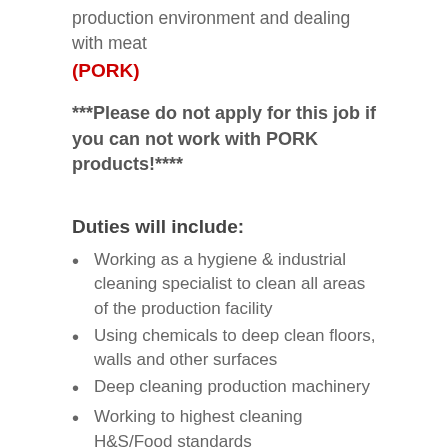production environment and dealing with meat
(PORK)
***Please do not apply for this job if you can not work with PORK products!****
Duties will include:
Working as a hygiene & industrial cleaning specialist to clean all areas of the production facility
Using chemicals to deep clean floors, walls and other surfaces
Deep cleaning production machinery
Working to highest cleaning H&S/Food standards
Industrial Cleaning experience is required
Working in a hot & noisy environment